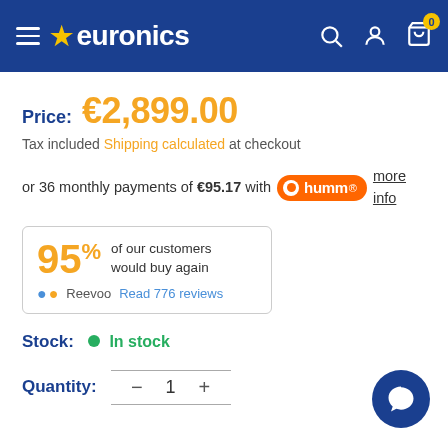euronics — navigation header with search, account, and cart icons
Price: €2,899.00
Tax included Shipping calculated at checkout
or 36 monthly payments of €95.17 with humm more info
95% of our customers would buy again — Reevoo — Read 776 reviews
Stock: In stock
Quantity: 1